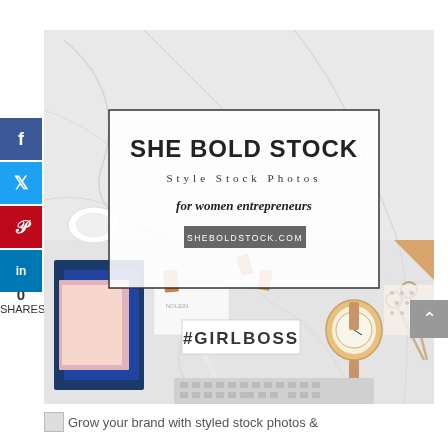[Figure (illustration): She Bold Stock promotional image with marble background, showing styled stock photography items including binder clips, notebooks, scissors, watch, with logo overlay reading 'SHE BOLD STOCK / Style Stock Photos / for women entrepreneurs / SHEBOLDSTOCK.COM' and a #GIRLBOSS sign]
Grow your brand with styled stock photos &